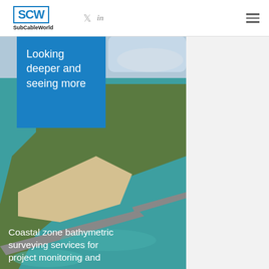SubCableWorld
[Figure (photo): Aerial photograph of a coastal zone showing a curved jetty or breakwater, sandy beach, turquoise water, and green vegetation on a peninsula.]
Looking deeper and seeing more
Coastal zone bathymetric surveying services for project monitoring and